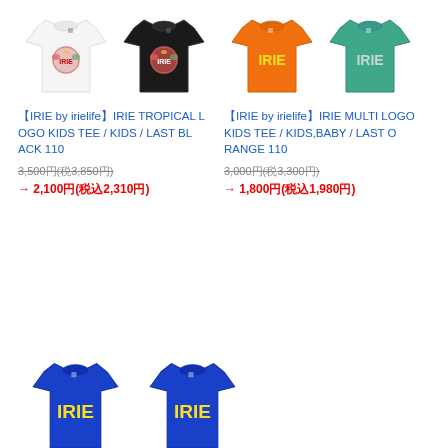[Figure (photo): Two kids IRIE tropical logo t-shirts (white and black) side by side]
[Figure (photo): Two kids IRIE multi logo t-shirts (orange and teal) side by side]
IRIE by irielife IRIE TROPICAL LOGO KIDS TEE / KIDS / LAST BLACK 110
3,500円(税3,850円)
→ 2,100円(税込2,310円)
IRIE by irielife IRIE MULTI LOGO KIDS TEE / KIDS,BABY / LAST ORANGE 110
3,000円(税3,300円)
→ 1,800円(税込1,980円)
[Figure (photo): Two kids IRIE blue t-shirts partially shown at bottom of page]